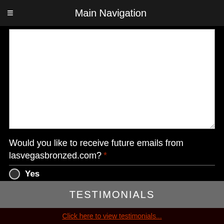Main Navigation
[Figure (screenshot): White textarea input box for form submission]
Would you like to receive future emails from lasvegasbronzed.com? *
Yes
No
Submit
TESTIMONIALS
Click here to view testimonials...